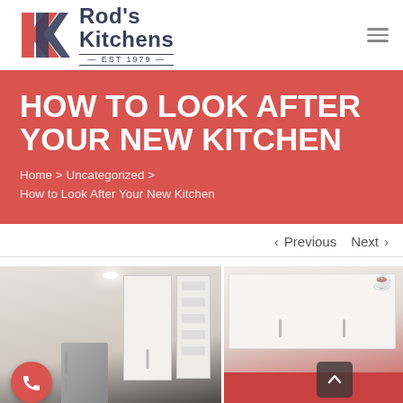Rod's Kitchens EST 1979
HOW TO LOOK AFTER YOUR NEW KITCHEN
Home > Uncategorized > How to Look After Your New Kitchen
< Previous   Next >
[Figure (photo): Two-panel photo showing white kitchen cabinetry with built-in shelving and stainless steel refrigerator on the left, and white upper cabinets with a red accent backsplash on the right. A red phone call button and a dark up-arrow button are overlaid on the image.]